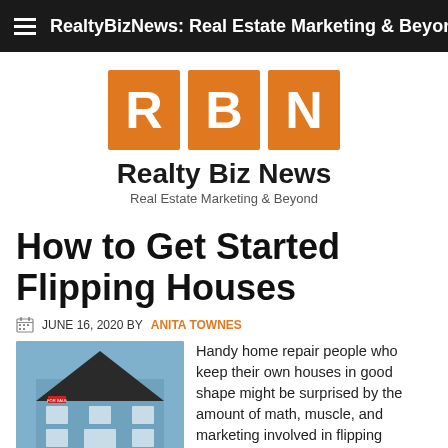RealtyBizNews: Real Estate Marketing & Beyond
[Figure (logo): Realty Biz News logo with orange R, B, N letter boxes and text 'Realty Biz News — Real Estate Marketing & Beyond']
How to Get Started Flipping Houses
JUNE 16, 2020 BY ANITA TOWNES
[Figure (photo): Photo of a blue house with dramatic angular architecture and dark roof]
Handy home repair people who keep their own houses in good shape might be surprised by the amount of math, muscle, and marketing involved in flipping houses...